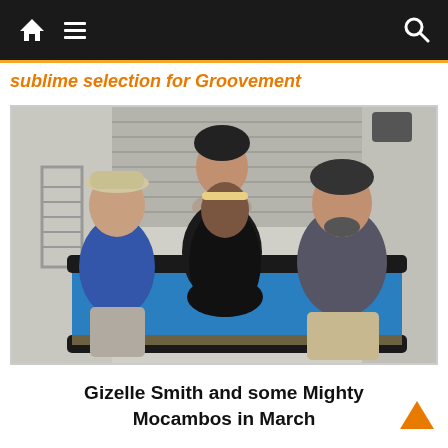Navigation bar with home, menu, and search icons
sublime selection for Groovement
[Figure (photo): Four people posing on a pool table in a room with a corrugated metal shutter in the background. Left: man in blue sweater and flat cap. Center back: person in dark jacket with scarf and beanie. Center front: woman in black jacket with headband. Right: man in dark beanie and grey sweater.]
Gizelle Smith and some Mighty Mocambos in March